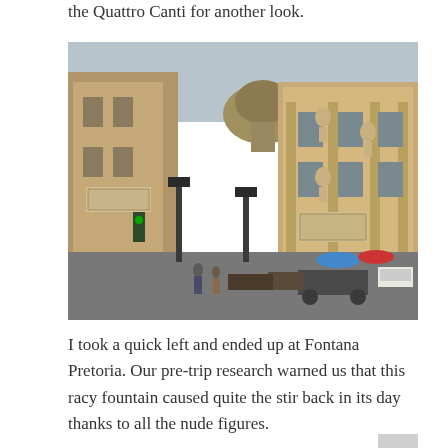the Quattro Canti for another look.
[Figure (photo): Photograph of the Quattro Canti baroque intersection in Palermo, Sicily, showing ornate stone facades with statues in niches, a green dome visible in the background, and a rainy street scene below with horse-drawn carriages and pedestrians with umbrellas.]
I took a quick left and ended up at Fontana Pretoria. Our pre-trip research warned us that this racy fountain caused quite the stir back in its day thanks to all the nude figures.